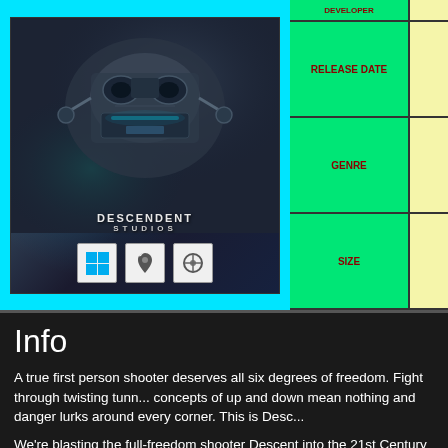[Figure (screenshot): Game cover/screenshot for Descent: Underground by Descendent Studios, showing a mechanical robot/ship with Descendent Studios logo and platform icons for Windows, Mac, and Linux]
| RELEASE DATE |  |
| --- | --- |
| GENRE |  |
| SIZE |  |
Info
A true first person shooter deserves all six degrees of freedom. Fight through twisting tunnels where concepts of up and down mean nothing and danger lurks around every corner. This is Desc...
We're blasting the full-freedom shooter Descent into the 21st Century with next-generation... Unreal Engine 4!
Descent: Underground is a both a prequel to the Descent series and a modernization of the... staying true to the original flight mechanics, arcade style combat, and tightly twisting maps... level!
System Requirements